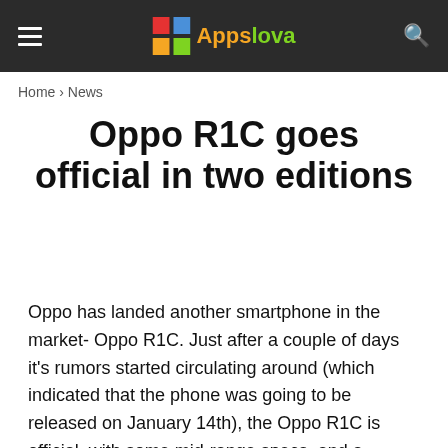Appslova
Home › News
Oppo R1C goes official in two editions
Oppo has landed another smartphone in the market- Oppo R1C. Just after a couple of days it's rumors started circulating around (which indicated that the phone was going to be released on January 14th), the Oppo R1C is official, with some mid-range specs, and a Sapphire Crystal back